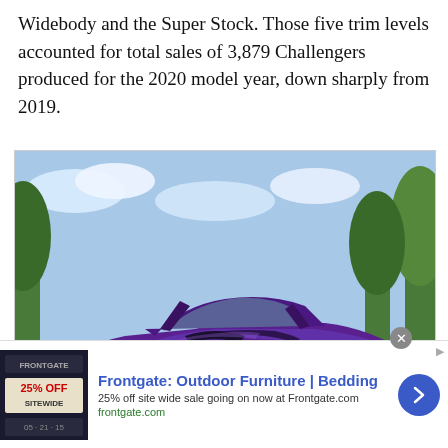Widebody and the Super Stock. Those five trim levels accounted for total sales of 3,879 Challengers produced for the 2020 model year, down sharply from 2019.
[Figure (photo): A purple Dodge Challenger SRT Hellcat Widebody with black racing stripes, photographed from a front three-quarter angle in a parking lot with trees in the background.]
Frontgate: Outdoor Furniture | Bedding — 25% off site wide sale going on now at Frontgate.com — frontgate.com